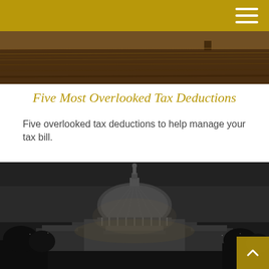[Figure (photo): Top partial image showing a field or landscape with golden/brown tones, partially obscured by the gold navigation header bar]
Five Most Overlooked Tax Deductions
Five overlooked tax deductions to help manage your tax bill.
[Figure (photo): Black and white nighttime photograph of the United States Capitol building dome, illuminated against a dark sky]